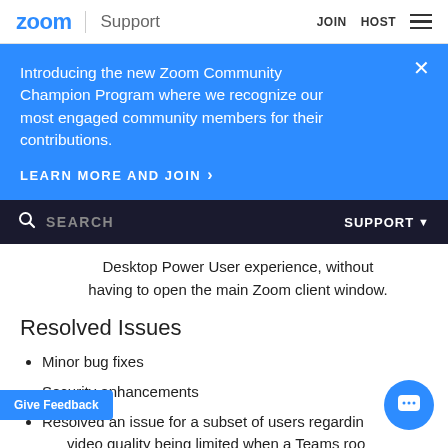zoom | Support  JOIN  HOST
Introducing the new Zoom Community Champion Program where we recognize our most engaged community members for their contributions.
LEARN MORE AND JOIN >
SEARCH  SUPPORT
Desktop Power User experience, without having to open the main Zoom client window.
Resolved Issues
Minor bug fixes
Security enhancements
Resolved an issue for a subset of users regarding video quality being limited when a Teams roo... eeting via guest join
an issue regarding short-form Youtube